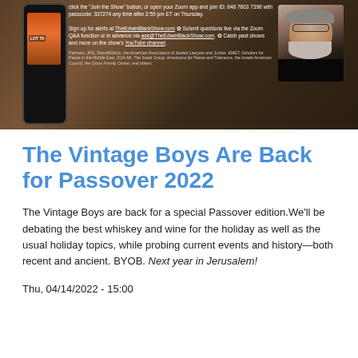[Figure (photo): Promotional banner image for The Edwin Black Show featuring a smartphone displaying colorful imagery on the left, text with website links and Zoom join details in the center, and a portrait of an older man with white beard and glasses on the right, against a dark brown/earthy background.]
The Vintage Boys Are Back for Passover 2022
The Vintage Boys are back for a special Passover edition.We'll be debating the best whiskey and wine for the holiday as well as the usual holiday topics, while probing current events and history—both recent and ancient. BYOB. Next year in Jerusalem!
Thu, 04/14/2022 - 15:00